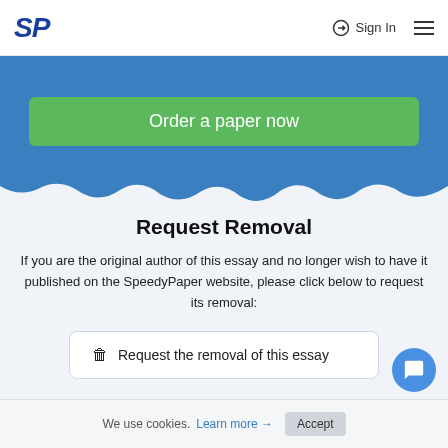SP  Sign In  ☰
Order a paper now
Request Removal
If you are the original author of this essay and no longer wish to have it published on the SpeedyPaper website, please click below to request its removal:
🗑 Request the removal of this essay
We use cookies. Learn more → Accept